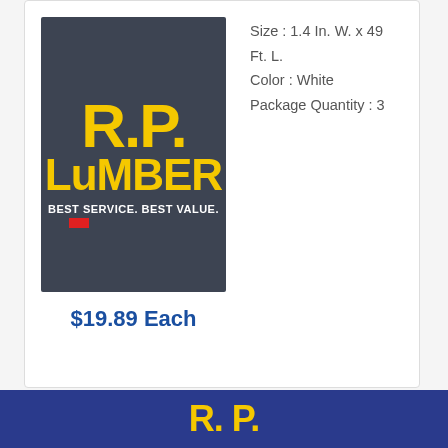[Figure (logo): R.P. Lumber logo on dark gray background with tagline BEST SERVICE. BEST VALUE.]
Size : 1.4 In. W. x 49 Ft. L.
Color : White
Package Quantity : 3
$19.89 Each
1 2 3 ▶
[Figure (logo): R.P. Lumber logo bottom footer on dark blue background showing R P in yellow]